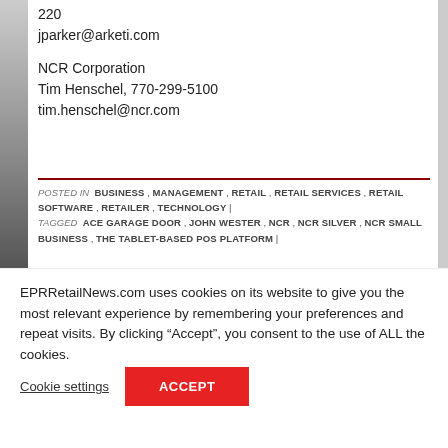220
jparker@arketi.com
NCR Corporation
Tim Henschel, 770-299-5100
tim.henschel@ncr.com
POSTED IN  BUSINESS , MANAGEMENT , RETAIL , RETAIL SERVICES , RETAIL SOFTWARE , RETAILER , TECHNOLOGY | TAGGED  ACE GARAGE DOOR , JOHN WESTER , NCR , NCR SILVER , NCR SMALL BUSINESS , THE TABLET-BASED POS PLATFORM |
EPRRetailNews.com uses cookies on its website to give you the most relevant experience by remembering your preferences and repeat visits. By clicking “Accept”, you consent to the use of ALL the cookies.
Cookie settings
ACCEPT